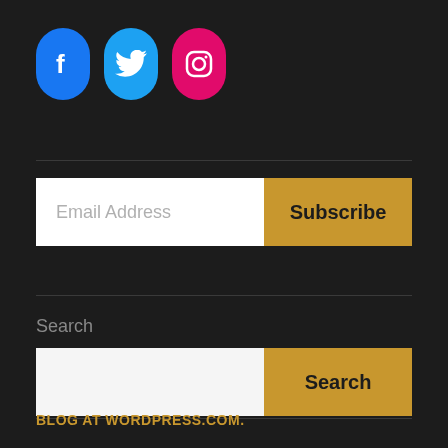[Figure (illustration): Three social media icon buttons: Facebook (blue rounded pill with 'f' logo), Twitter (light blue rounded pill with bird logo), Instagram (pink/magenta rounded pill with Instagram camera logo)]
Email Address
Subscribe
Search
Search
BLOG AT WORDPRESS.COM.